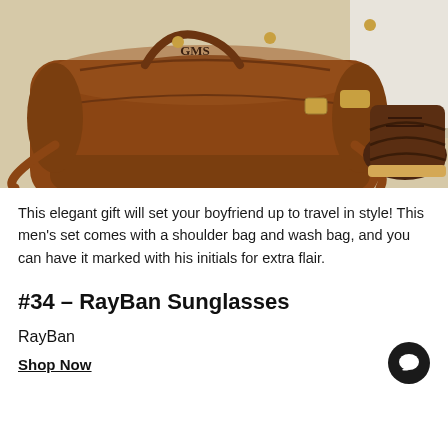[Figure (photo): Brown leather duffle/shoulder bag with gold hardware and monogram, placed on a tiled floor next to a pair of dark brown lace-up dress shoes]
This elegant gift will set your boyfriend up to travel in style! This men's set comes with a shoulder bag and wash bag, and you can have it marked with his initials for extra flair.
#34 – RayBan Sunglasses
RayBan
Shop Now